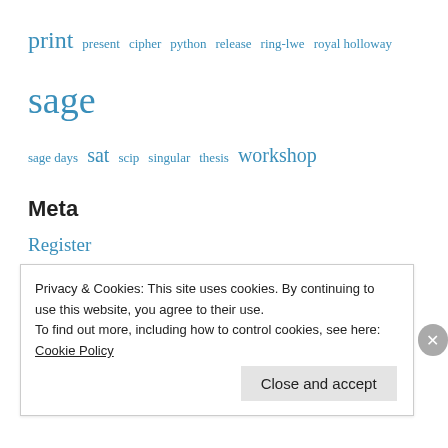print present cipher python release ring-lwe royal holloway sage sage days sat scip singular thesis workshop
Meta
Register
Log in
Entries feed
Comments feed
WordPress.com
Privacy & Cookies: This site uses cookies. By continuing to use this website, you agree to their use. To find out more, including how to control cookies, see here: Cookie Policy
Close and accept